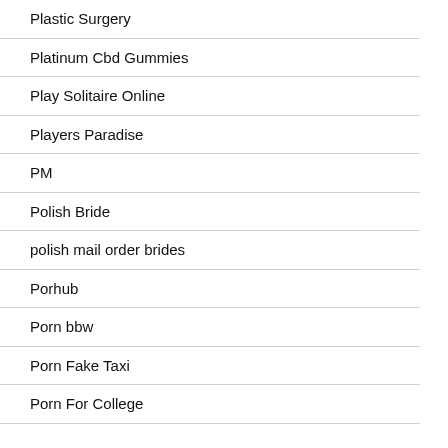Plastic Surgery
Platinum Cbd Gummies
Play Solitaire Online
Players Paradise
PM
Polish Bride
polish mail order brides
Porhub
Porn bbw
Porn Fake Taxi
Porn For College